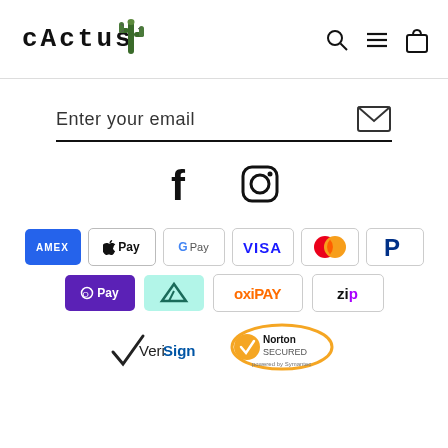CACTUS [logo with cactus icon]
Enter your email
[Figure (infographic): Facebook and Instagram social media icons]
[Figure (infographic): Payment method logos: AMEX, Apple Pay, G Pay, VISA, Mastercard, PayPal, O Pay, Afterpay, Oxipay, Zip]
[Figure (logo): VeriSign and Norton Secured powered by Symantec badges]